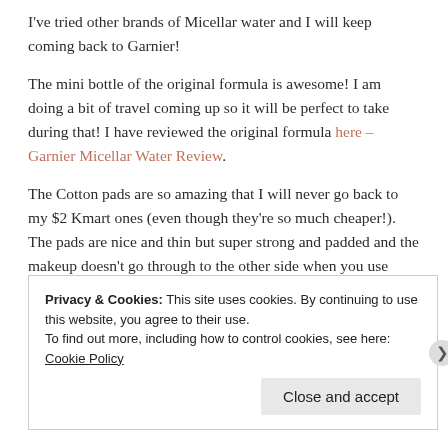I've tried other brands of Micellar water and I will keep coming back to Garnier!
The mini bottle of the original formula is awesome! I am doing a bit of travel coming up so it will be perfect to take during that! I have reviewed the original formula here – Garnier Micellar Water Review.
The Cotton pads are so amazing that I will never go back to my $2 Kmart ones (even though they're so much cheaper!). The pads are nice and thin but super strong and padded and the makeup doesn't go through to the other side when you use them so you can use both sides with ease. I would DEFINITELY recommend them especially for use alongside the Micellar Water.
Privacy & Cookies: This site uses cookies. By continuing to use this website, you agree to their use.
To find out more, including how to control cookies, see here: Cookie Policy
Close and accept